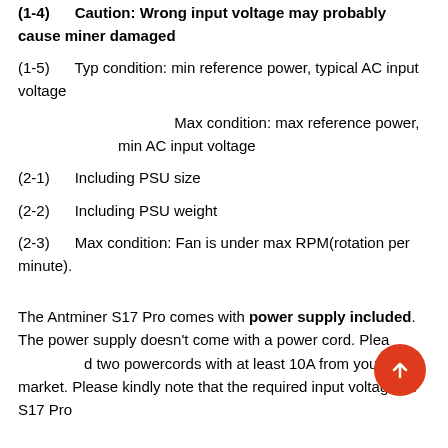(1-4)    Caution: Wrong input voltage may probably cause miner damaged
(1-5)    Typ condition: min reference power, typical AC input voltage
Max condition: max reference power, min AC input voltage
(2-1)    Including PSU size
(2-2)    Including PSU weight
(2-3)    Max condition: Fan is under max RPM(rotation per minute).
The Antminer S17 Pro comes with power supply included. The power supply doesn't come with a power cord. Please purchase two powercords with at least 10A from your local market. Please kindly note that the required input voltage for S17 Pro